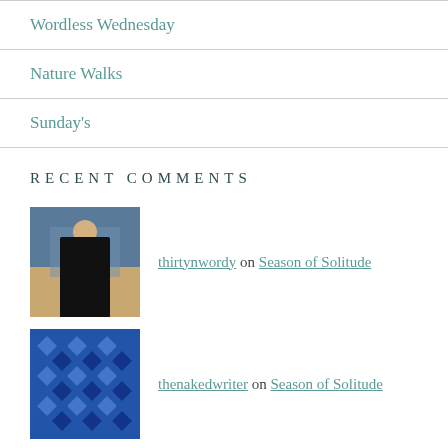Wordless Wednesday
Nature Walks
Sunday's
RECENT COMMENTS
thirtynwordy on Season of Solitude
thenakedwriter on Season of Solitude
thirtynwordy on Season of Solitude
athousandbitsofpaper on Season of Solitude